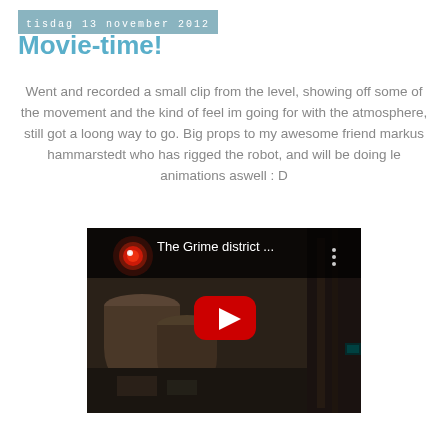tisdag 13 november 2012
Movie-time!
Went and recorded a small clip from the level, showing off some of the movement and the kind of feel im going for with the atmosphere, still got a loong way to go. Big props to my awesome friend markus hammarstedt who has rigged the robot, and will be doing le animations aswell : D
[Figure (screenshot): YouTube video thumbnail for 'The Grime district ...' showing a dark industrial scene with a glowing red robot eye, barrels, and machinery. A large red YouTube play button is centered on the thumbnail.]